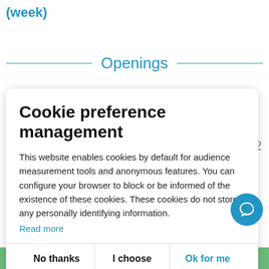(week)
Openings
Cookie preference management
This website enables cookies by default for audience measurement tools and anonymous features. You can configure your browser to block or be informed of the existence of these cookies. These cookies do not store any personally identifying information.
Read more
No thanks
I choose
Ok for me
5  6  7  8  9  10  11